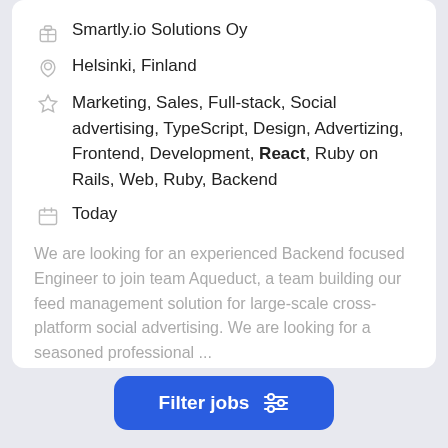Smartly.io Solutions Oy
Helsinki, Finland
Marketing, Sales, Full-stack, Social advertising, TypeScript, Design, Advertizing, Frontend, Development, React, Ruby on Rails, Web, Ruby, Backend
Today
We are looking for an experienced Backend focused Engineer to join team Aqueduct, a team building our feed management solution for large-scale cross-platform social advertising. We are looking for a seasoned professional ...
Full description
Filter jobs